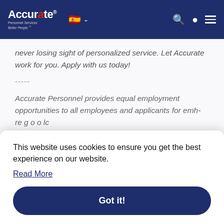Accurate Personnel Services – Better People
never losing sight of personalized service. Let Accurate work for you. Apply with us today!
-----
Accurate Personnel provides equal employment opportunities to all employees and applicants for employment without discrimination...
This website uses cookies to ensure you get the best experience on our website.
Read More
Got it!